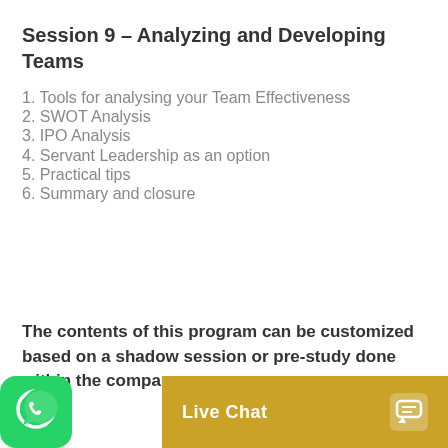Session 9 – Analyzing and Developing Teams
1. Tools for analysing your Team Effectiveness
2. SWOT Analysis
3. IPO Analysis
4. Servant Leadership as an option
5. Practical tips
6. Summary and closure
The contents of this program can be customized based on a shadow session or pre-study done within the company.
[Figure (logo): WhatsApp green logo icon]
[Figure (infographic): Live Chat button bar in golden/amber color with chat bubble icon]